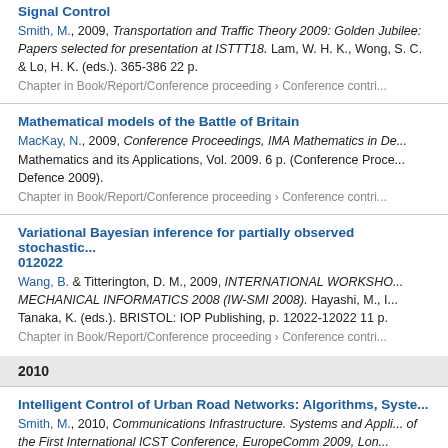Signal Control
Smith, M., 2009, Transportation and Traffic Theory 2009: Golden Jubilee: Papers selected for presentation at ISTTT18. Lam, W. H. K., Wong, S. C. & Lo, H. K. (eds.). 365-386 22 p.
Chapter in Book/Report/Conference proceeding › Conference contribution
Mathematical models of the Battle of Britain
MacKay, N., 2009, Conference Proceedings, IMA Mathematics in Defence: Institute of Mathematics and its Applications, Vol. 2009. 6 p. (Conference Proceedings, IMA Mathematics in Defence 2009).
Chapter in Book/Report/Conference proceeding › Conference contribution
Variational Bayesian inference for partially observed stochastic dynamical systems. 012022
Wang, B. & Titterington, D. M., 2009, INTERNATIONAL WORKSHOP ON STATISTICAL-MECHANICAL INFORMATICS 2008 (IW-SMI 2008). Hayashi, M., Imai, H. & Tanaka, K. (eds.). BRISTOL: IOP Publishing, p. 12022-12022 11 p.
Chapter in Book/Report/Conference proceeding › Conference contribution
2010
Intelligent Control of Urban Road Networks: Algorithms, Systems and Architectures
Smith, M., 2010, Communications Infrastructure. Systems and Applications in Europe: Proceedings of the First International ICST Conference, EuropeComm 2009, London, UK. Mehmood, R., Cerqueira, E., Piesiewicz, R. & Chlamtac, I. (eds.). S (Lecture Notes of the Institute for Computer Sciences, Social Informatics and Telecommunications Engineering).
Chapter in Book/Report/Conference proceeding › Conference contribution